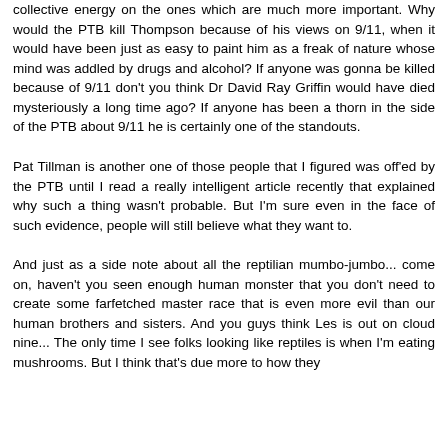collective energy on the ones which are much more important. Why would the PTB kill Thompson because of his views on 9/11, when it would have been just as easy to paint him as a freak of nature whose mind was addled by drugs and alcohol? If anyone was gonna be killed because of 9/11 don't you think Dr David Ray Griffin would have died mysteriously a long time ago? If anyone has been a thorn in the side of the PTB about 9/11 he is certainly one of the standouts.
Pat Tillman is another one of those people that I figured was off'ed by the PTB until I read a really intelligent article recently that explained why such a thing wasn't probable. But I'm sure even in the face of such evidence, people will still believe what they want to.
And just as a side note about all the reptilian mumbo-jumbo... come on, haven't you seen enough human monster that you don't need to create some farfetched master race that is even more evil than our human brothers and sisters. And you guys think Les is out on cloud nine... The only time I see folks looking like reptiles is when I'm eating mushrooms. But I think that's due more to how they